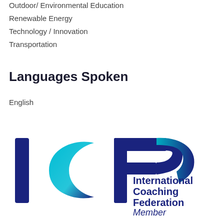Outdoor/ Environmental Education
Renewable Energy
Technology / Innovation
Transportation
Languages Spoken
English
[Figure (logo): ICF International Coaching Federation Member logo]